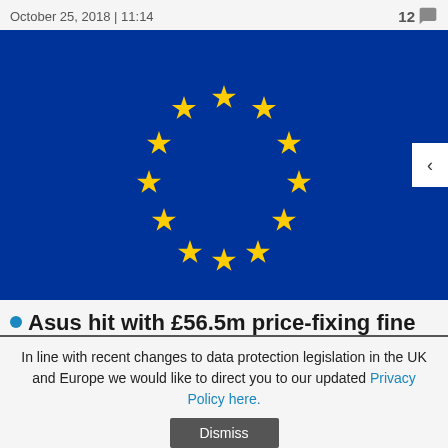October 25, 2018 | 11:14   12
[Figure (photo): European Union flag with yellow stars on blue background, with a white navigation arrow button on the right side]
Asus hit with £56.5m price-fixing fine
Denon & Marantz, Philips, Pioneer, too.
July 25, 2018 | 11:49   7
In line with recent changes to data protection legislation in the UK and Europe we would like to direct you to our updated Privacy Policy here.